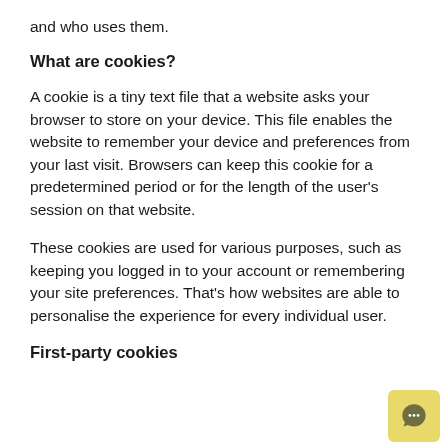and who uses them.
What are cookies?
A cookie is a tiny text file that a website asks your browser to store on your device. This file enables the website to remember your device and preferences from your last visit. Browsers can keep this cookie for a predetermined period or for the length of the user's session on that website.
These cookies are used for various purposes, such as keeping you logged in to your account or remembering your site preferences. That's how websites are able to personalise the experience for every individual user.
First-party cookies